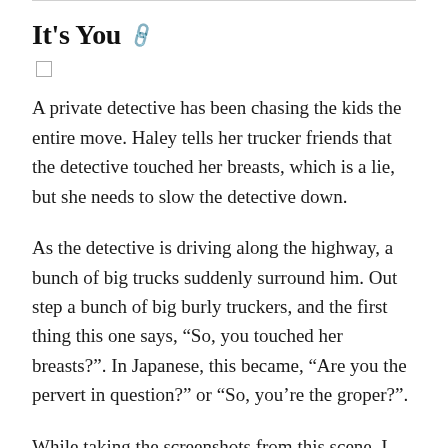It's You
A private detective has been chasing the kids the entire move. Haley tells her trucker friends that the detective touched her breasts, which is a lie, but she needs to slow the detective down.
As the detective is driving along the highway, a bunch of big trucks suddenly surround him. Out step a bunch of big burly truckers, and the first thing this one says, “So, you touched her breasts?”. In Japanese, this became, “Are you the pervert in question?” or “So, you’re the groper?”.
While taking the screenshots from this scene, I